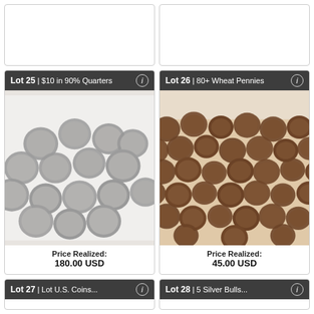[Figure (photo): Top-left auction lot card, partially visible, showing empty white area]
[Figure (photo): Top-right auction lot card, partially visible, showing empty white area]
Lot 25 | $10 in 90% Quarters
[Figure (photo): Photo of a pile of silver US quarters (90% silver) in a white bin]
Price Realized: 180.00 USD
Lot 26 | 80+ Wheat Pennies
[Figure (photo): Photo of a large pile of brown wheat pennies in a white bin]
Price Realized: 45.00 USD
Lot 27 | (partial, cut off at bottom)
Lot 28 | 5 Silver Bulls... (partial, cut off at bottom)